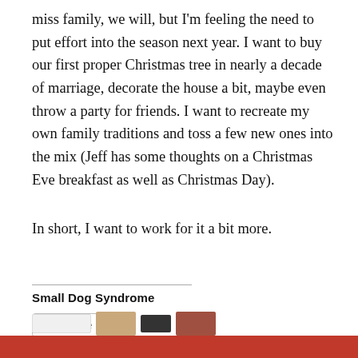miss family, we will, but I'm feeling the need to put effort into the season next year. I want to buy our first proper Christmas tree in nearly a decade of marriage, decorate the house a bit, maybe even throw a party for friends. I want to recreate my own family traditions and toss a few new ones into the mix (Jeff has some thoughts on a Christmas Eve breakfast as well as Christmas Day).
In short, I want to work for it a bit more.
Small Dog Syndrome
[Figure (other): Share button with share icon]